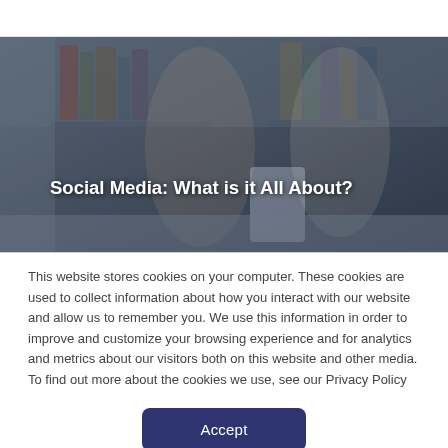[Figure (photo): Two women — a younger woman with dark hair and an older woman with white/grey hair and glasses — sitting together at a table looking at a smartphone. Bookshelves visible in the background. The image serves as a hero/banner image with overlaid text.]
Social Media: What is it All About?
This website stores cookies on your computer. These cookies are used to collect information about how you interact with our website and allow us to remember you. We use this information in order to improve and customize your browsing experience and for analytics and metrics about our visitors both on this website and other media. To find out more about the cookies we use, see our Privacy Policy